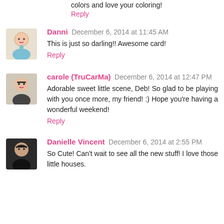colors and love your coloring!
Reply
Danni December 6, 2014 at 11:45 AM
This is just so darling!! Awesome card!
Reply
carole (TruCarMa) December 6, 2014 at 12:47 PM
Adorable sweet little scene, Deb! So glad to be playing with you once more, my friend! :) Hope you're having a wonderful weekend!
Reply
Danielle Vincent December 6, 2014 at 2:55 PM
So Cute! Can't wait to see all the new stuff! I love those little houses.